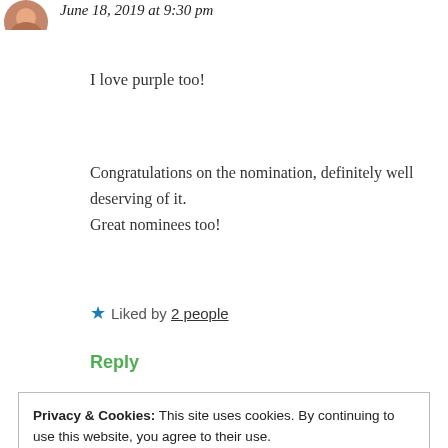June 18, 2019 at 9:30 pm
I love purple too!
Congratulations on the nomination, definitely well deserving of it.
Great nominees too!
★ Liked by 2 people
Reply
Privacy & Cookies: This site uses cookies. By continuing to use this website, you agree to their use.
To find out more, including how to control cookies, see here: Cookie Policy